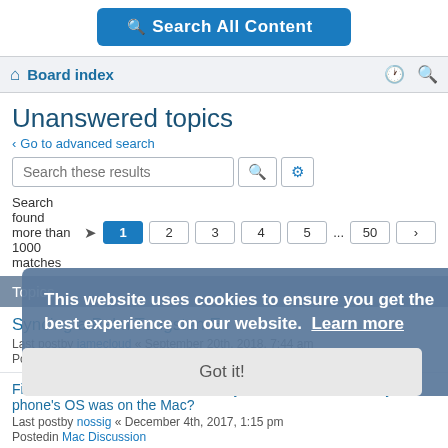[Figure (screenshot): Search All Content button - blue rounded rectangle with magnifier icon]
Board index
Unanswered topics
< Go to advanced search
Search these results
Search found more than 1000 matches  1 2 3 4 5 ... 50 >
Topics
Syncing a Palm Tungsten E
Last postby jamecloud « September 20th, 2018, 7:44 am
Posted in Mac Discussion
Filevault/Will I be able to recover any files/data from when my phone's OS was on the Mac?
Last postby nossig « December 4th, 2017, 1:15 pm
Posted in Mac Discussion
trouble with PDF services
Last postby dhnyny « June 25th, 2017, 11:54 am
Posted in Mac Discussion
This website uses cookies to ensure you get the best experience on our website.  Learn more
Got it!